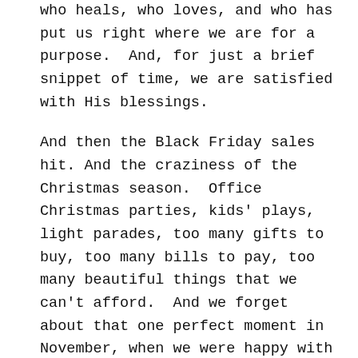who heals, who loves, and who has put us right where we are for a purpose.  And, for just a brief snippet of time, we are satisfied with His blessings.
And then the Black Friday sales hit. And the craziness of the Christmas season.  Office Christmas parties, kids' plays, light parades, too many gifts to buy, too many bills to pay, too many beautiful things that we can't afford.  And we forget about that one perfect moment in November, when we were happy with what we had.  We just keep wanting and reaching and grabbing for more.
But, this year, I don't want to forget what that November day does to my heart.  I want to dwell on the goodness of God.  And, it's so easy to do, if we